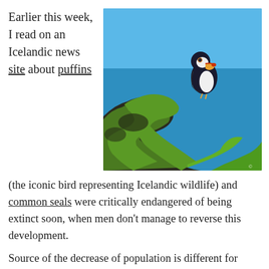Earlier this week, I read on an Icelandic news site about puffins
[Figure (photo): A puffin bird perched on a rocky green grassy cliff edge with a vivid blue sea/sky background. The puffin has a black back, white front, and colorful orange-red beak.]
(the iconic bird representing Icelandic wildlife) and common seals were critically endangered of being extinct soon, when men don't manage to reverse this development.
Source of the decrease of population is different for those two species. While the puffins are endangered by the climatic changes around Iceland, despite they are protected by certain laws. But, the warming of the sea makes their food, a special kind of fish, vanish. So, the puffins